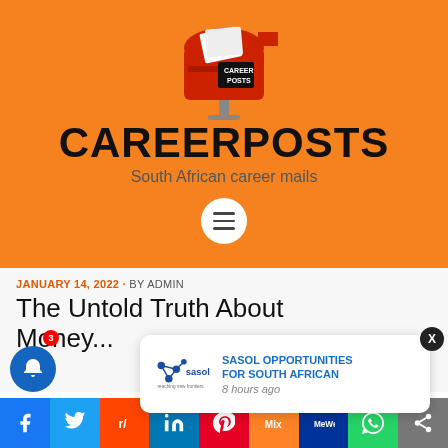[Figure (logo): CareerPosts website header with orange background, red mailbox logo labeled CAREER POSTS, site title CAREERPOSTS, subtitle South African career mails, and hamburger menu button]
JANUARY 14, 2022 · BY ADMIN
The Untold Truth About Money...
[Figure (other): Sasol notification popup showing Sasol logo with text SASOL OPPORTUNITIES FOR SOUTH AFRICAN and timestamp 8 hours ago]
[Figure (other): Social media sharing bar at the bottom with icons for Facebook, Twitter, Reddit, LinkedIn, Pinterest, Mix, MeWe, WhatsApp, and share]